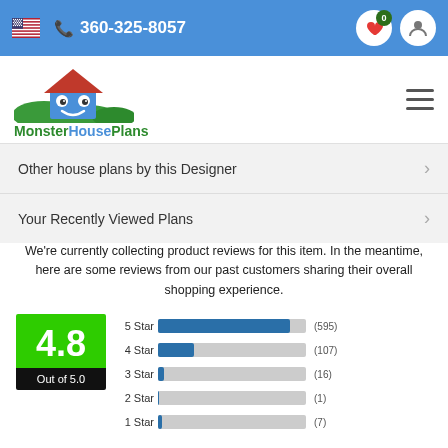360-325-8057
[Figure (logo): MonsterHousePlans logo with cartoon monster house and green hills]
Other house plans by this Designer
Your Recently Viewed Plans
We're currently collecting product reviews for this item. In the meantime, here are some reviews from our past customers sharing their overall shopping experience.
[Figure (bar-chart): Star ratings]
4.8 Out of 5.0